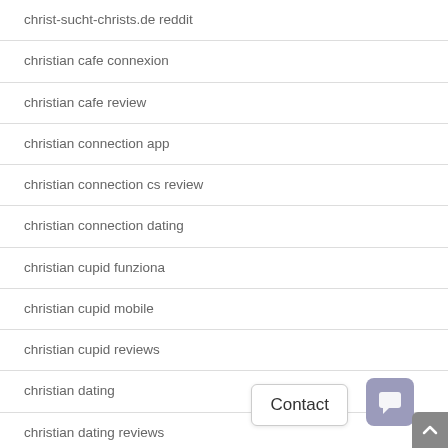christ-sucht-christs.de reddit
christian cafe connexion
christian cafe review
christian connection app
christian connection cs review
christian connection dating
christian cupid funziona
christian cupid mobile
christian cupid reviews
christian dating
christian dating reviews
Christian Dating singles
Christian Dating visitors